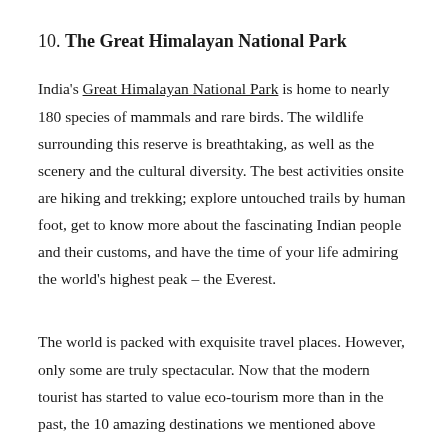10. The Great Himalayan National Park
India's Great Himalayan National Park is home to nearly 180 species of mammals and rare birds. The wildlife surrounding this reserve is breathtaking, as well as the scenery and the cultural diversity. The best activities onsite are hiking and trekking; explore untouched trails by human foot, get to know more about the fascinating Indian people and their customs, and have the time of your life admiring the world's highest peak – the Everest.
The world is packed with exquisite travel places. However, only some are truly spectacular. Now that the modern tourist has started to value eco-tourism more than in the past, the 10 amazing destinations we mentioned above